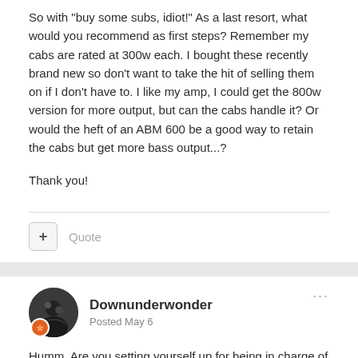So with "buy some subs, idiot!" As a last resort, what would you recommend as first steps? Remember my cabs are rated at 300w each. I bought these recently brand new so don't want to take the hit of selling them on if I don't have to. I like my amp, I could get the 800w version for more output, but can the cabs handle it? Or would the heft of an ABM 600 be a good way to retain the cabs but get more bass output...?
Thank you!
+ Quote
Downunderwonder
Posted May 6
Humm. Are you setting yourself up for being in charge of FOH? I think you are.
I question whether these days the gigs/ venues are really